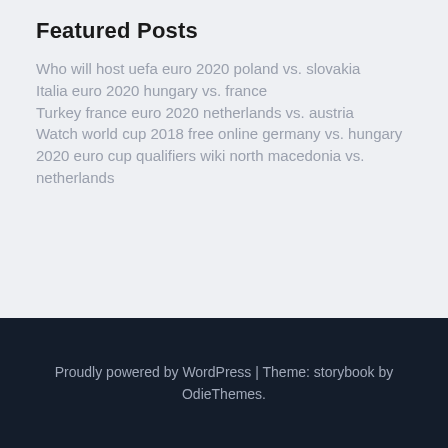Featured Posts
Who will host uefa euro 2020 poland vs. slovakia
Italia euro 2020 hungary vs. france
Turkey france euro 2020 netherlands vs. austria
Watch world cup 2018 free online germany vs. hungary
2020 euro cup qualifiers wiki north macedonia vs. netherlands
Proudly powered by WordPress | Theme: storybook by OdieThemes.